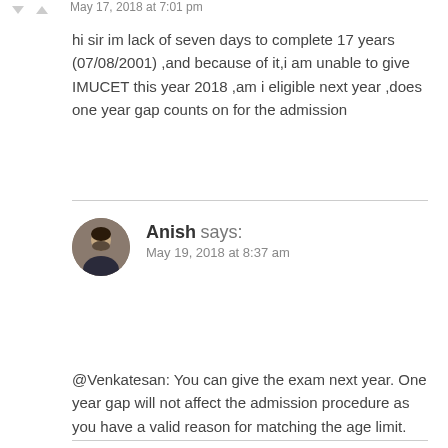May 17, 2018 at 7:01 pm
hi sir im lack of seven days to complete 17 years (07/08/2001) ,and because of it,i am unable to give IMUCET this year 2018 ,am i eligible next year ,does one year gap counts on for the admission
Anish says:
May 19, 2018 at 8:37 am
@Venkatesan: You can give the exam next year. One year gap will not affect the admission procedure as you have a valid reason for matching the age limit.